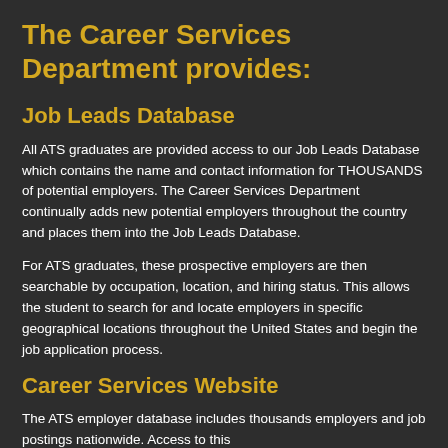The Career Services Department provides:
Job Leads Database
All ATS graduates are provided access to our Job Leads Database which contains the name and contact information for THOUSANDS of potential employers. The Career Services Department continually adds new potential employers throughout the country and places them into the Job Leads Database.
For ATS graduates, these prospective employers are then searchable by occupation, location, and hiring status. This allows the student to search for and locate employers in specific geographical locations throughout the United States and begin the job application process.
Career Services Website
The ATS employer database includes thousands employers and job postings nationwide. Access to this